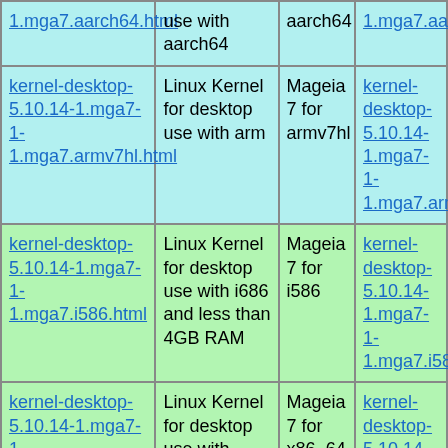| kernel-desktop-5.10.14-1.mga7-1-1.mga7.aarch64.html | use with aarch64 | aarch64 | 1.mga7.aarch64.rpm |
| kernel-desktop-5.10.14-1.mga7-1-1.mga7.armv7hl.html | Linux Kernel for desktop use with arm | Mageia 7 for armv7hl | kernel-desktop-5.10.14-1.mga7-1-1.mga7.armv7hl.rpm |
| kernel-desktop-5.10.14-1.mga7-1-1.mga7.i586.html | Linux Kernel for desktop use with i686 and less than 4GB RAM | Mageia 7 for i586 | kernel-desktop-5.10.14-1.mga7-1-1.mga7.i586.rpm |
| kernel-desktop-5.10.14-1.mga7-1-1.mga7.x86_64.html | Linux Kernel for desktop use with x86_64 | Mageia 7 for x86_64 | kernel-desktop-5.10.14-1.mga7-1-1.mga7.x86_64.rpm |